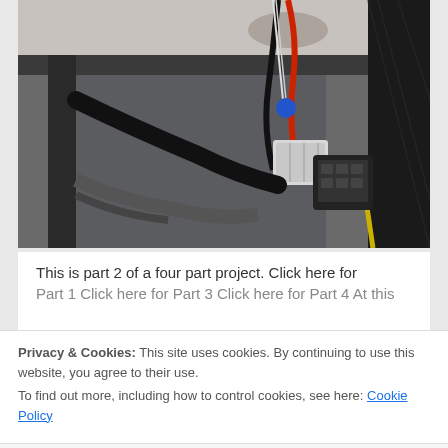[Figure (photo): Close-up photo of electrical wiring and connectors under a vehicle or equipment. Shows red and black wires, a blue connector/tap, a white plastic connector block, and a black multi-pin connector. Black braided wire loom visible on the right side.]
This is part 2 of a four part project. Click here for Part 1 Click here for Part 3 Click here for Part 4 At this
Privacy & Cookies: This site uses cookies. By continuing to use this website, you agree to their use.
To find out more, including how to control cookies, see here: Cookie Policy
Close and accept